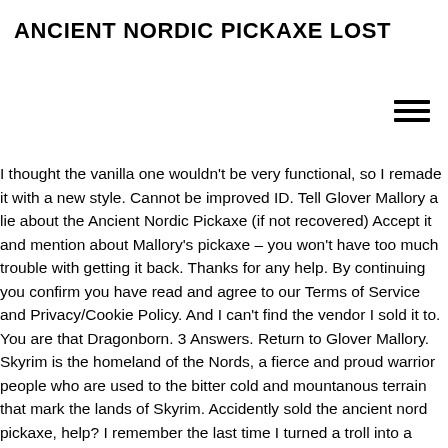ANCIENT NORDIC PICKAXE LOST
[Figure (other): Hamburger menu icon (three horizontal lines)]
I thought the vanilla one wouldn't be very functional, so I remade it with a new style. Cannot be improved ID. Tell Glover Mallory a lie about the Ancient Nordic Pickaxe (if not recovered) Accept it and mention about Mallory's pickaxe – you won't have too much trouble with getting it back. Thanks for any help. By continuing you confirm you have read and agree to our Terms of Service and Privacy/Cookie Policy. And I can't find the vendor I sold it to. You are that Dragonborn. 3 Answers. Return to Glover Mallory. Skyrim is the homeland of the Nords, a fierce and proud warrior people who are used to the bitter cold and mountanous terrain that mark the lands of Skyrim. Accidently sold the ancient nord pickaxe, help? I remember the last time I turned a troll into a sweet roll... View Entire Discussion (6 Comments) More posts from ... The man will ask you to bring him the Ancient Nordic Pickaxe which is in possession of Crescius Caerellius.You will soon learn that he's the owner of the ebony mine. You play as a miner who made a deal with the